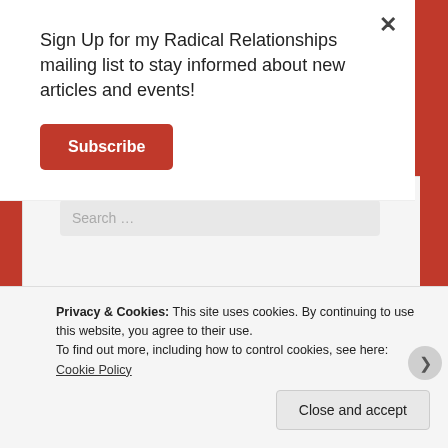Sign Up for my Radical Relationships mailing list to stay informed about new articles and events!
Subscribe
[Figure (screenshot): Website background showing search box and Recent Posts section partially visible behind modal]
Search …
Recent Posts
Privacy & Cookies: This site uses cookies. By continuing to use this website, you agree to their use.
To find out more, including how to control cookies, see here: Cookie Policy
Close and accept